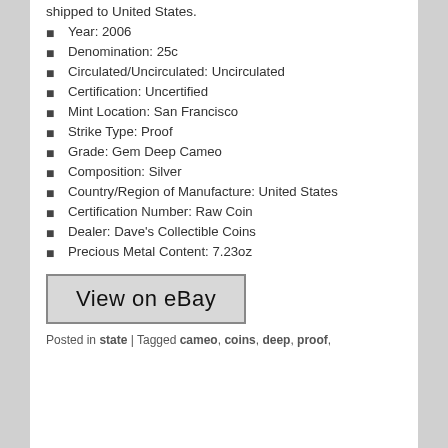shipped to United States.
Year: 2006
Denomination: 25c
Circulated/Uncirculated: Uncirculated
Certification: Uncertified
Mint Location: San Francisco
Strike Type: Proof
Grade: Gem Deep Cameo
Composition: Silver
Country/Region of Manufacture: United States
Certification Number: Raw Coin
Dealer: Dave's Collectible Coins
Precious Metal Content: 7.23oz
[Figure (screenshot): View on eBay button]
Posted in state | Tagged cameo, coins, deep, proof,